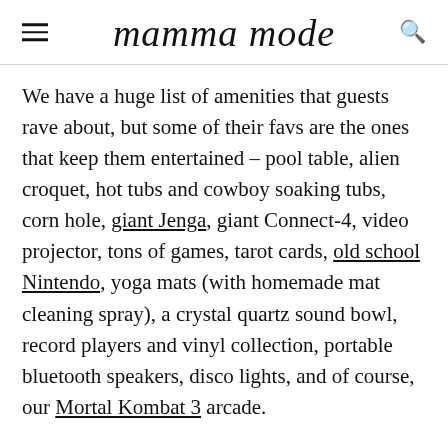mamma mode
We have a huge list of amenities that guests rave about, but some of their favs are the ones that keep them entertained – pool table, alien croquet, hot tubs and cowboy soaking tubs, corn hole, giant Jenga, giant Connect-4, video projector, tons of games, tarot cards, old school Nintendo, yoga mats (with homemade mat cleaning spray), a crystal quartz sound bowl, record players and vinyl collection, portable bluetooth speakers, disco lights, and of course, our Mortal Kombat 3 arcade.